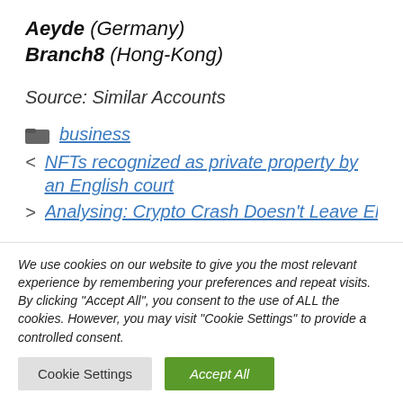Aeyde (Germany)
Branch8 (Hong-Kong)
Source: Similar Accounts
business
< NFTs recognized as private property by an English court
> Analysing: Crypto Crash Doesn't Leave El...
We use cookies on our website to give you the most relevant experience by remembering your preferences and repeat visits. By clicking "Accept All", you consent to the use of ALL the cookies. However, you may visit "Cookie Settings" to provide a controlled consent.